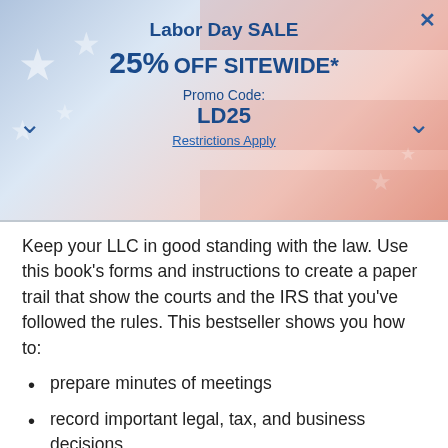[Figure (screenshot): Labor Day Sale promotional banner with American flag background. Shows '25% OFF SITEWIDE*' with promo code 'LD25' and a 'Restrictions Apply' link. Has close button (×) top right, and chevron arrows on left and right sides.]
Keep your LLC in good standing with the law. Use this book's forms and instructions to create a paper trail that show the courts and the IRS that you've followed the rules. This bestseller shows you how to:
prepare minutes of meetings
record important legal, tax, and business decisions
keep a complete LLC records book
Includes all the legal forms you need!